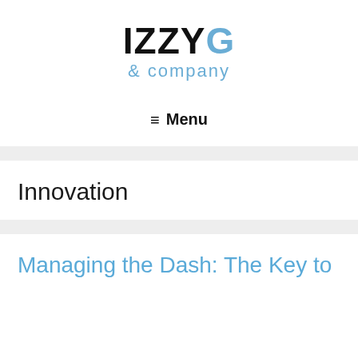IZZYG & company
≡ Menu
Innovation
Managing the Dash: The Key to